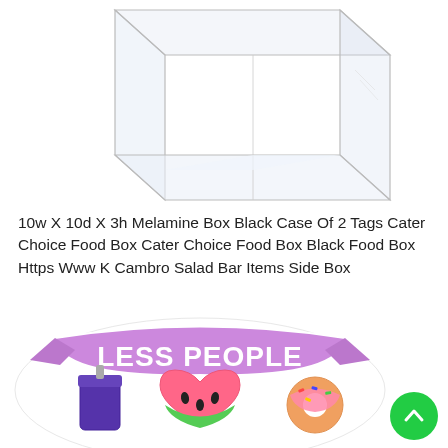[Figure (photo): Clear acrylic/melamine display box seen from slight angle, showing transparent walls and white floor inside, open top, against white background.]
10w X 10d X 3h Melamine Box Black Case Of 2 Tags Cater Choice Food Box Cater Choice Food Box Black Food Box Https Www K Cambro Salad Bar Items Side Box
[Figure (illustration): Colorful sticker illustration with 'LESS PEOPLE' text on a pink/lavender banner ribbon, with cartoon food items (watermelon, donut, drink) below, with white border.]